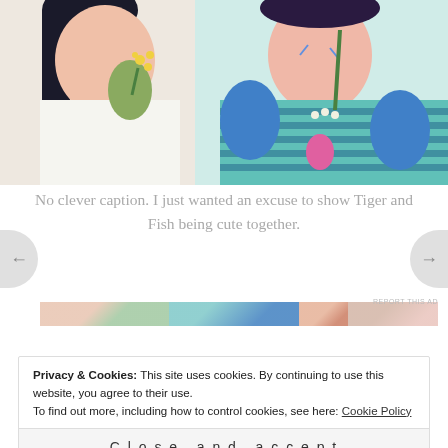[Figure (illustration): Anime-style illustration of two characters Tiger and Fish together, showing upper bodies with colorful clothing; one character holds flowers, the other has teal/blue striped outfit with pink pendant]
No clever caption. I just wanted an excuse to show Tiger and Fish being cute together.
[Figure (other): Horizontal advertisement strip banner with colorful image blocks]
Privacy & Cookies: This site uses cookies. By continuing to use this website, you agree to their use. To find out more, including how to control cookies, see here: Cookie Policy
Close and accept